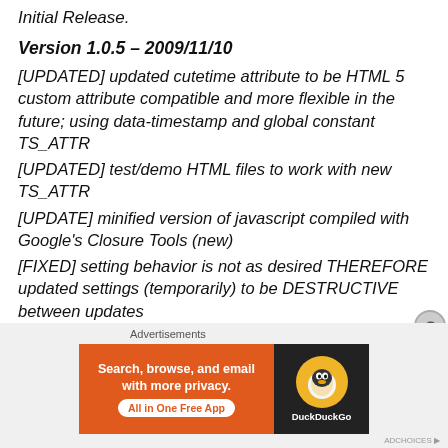Initial Release.
Version 1.0.5 – 2009/11/10
[UPDATED] updated cutetime attribute to be HTML 5 custom attribute compatible and more flexible in the future; using data-timestamp and global constant TS_ATTR
[UPDATED] test/demo HTML files to work with new TS_ATTR
[UPDATE] minified version of javascript compiled with Google's Closure Tools (new)
[FIXED] setting behavior is not as desired THEREFORE updated settings (temporarily) to be DESTRUCTIVE between updates
[FEATURE] added translations.txt to act as repository for
[Figure (screenshot): DuckDuckGo advertisement banner: 'Search, browse, and email with more privacy. All in One Free App' with DuckDuckGo logo on dark background.]